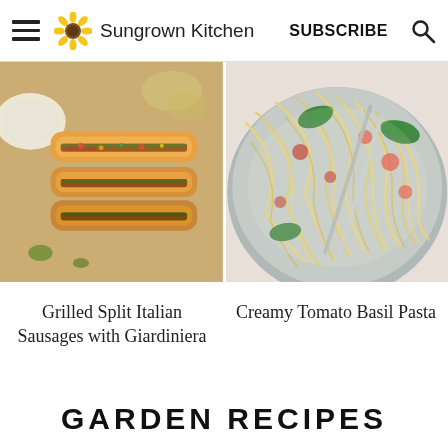Sungrown Kitchen | SUBSCRIBE
[Figure (photo): Overhead view of grilled split Italian sausages in hot dog buns with giardiniera toppings on a wooden cutting board]
[Figure (photo): Overhead view of creamy tomato basil pasta in a large skillet with tongs and fresh basil leaves]
Grilled Split Italian Sausages with Giardiniera
Creamy Tomato Basil Pasta
GARDEN RECIPES